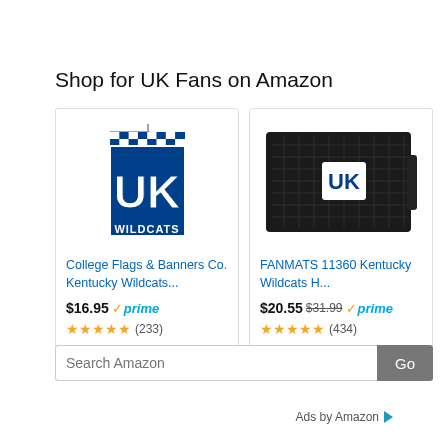Shop for UK Fans on Amazon
[Figure (photo): Kentucky Wildcats garden flag with blue and white checkered top and UK Wildcats text]
College Flags & Banners Co. Kentucky Wildcats...
$16.95 prime (233)
[Figure (photo): FANMATS black rubber door mat with UK Wildcats logo]
FANMATS 11360 Kentucky Wildcats H...
$20.55 $31.99 prime (434)
Search Amazon
Ads by Amazon